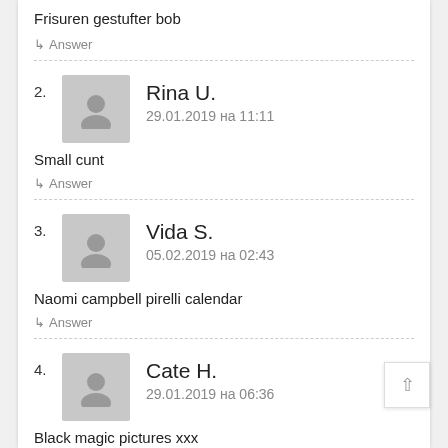Frisuren gestufter bob
↳ Answer
2. Rina U. — 29.01.2019 на 11:11 — Small cunt
↳ Answer
3. Vida S. — 05.02.2019 на 02:43 — Naomi campbell pirelli calendar
↳ Answer
4. Cate H. — 29.01.2019 на 06:36 — Black magic pictures xxx